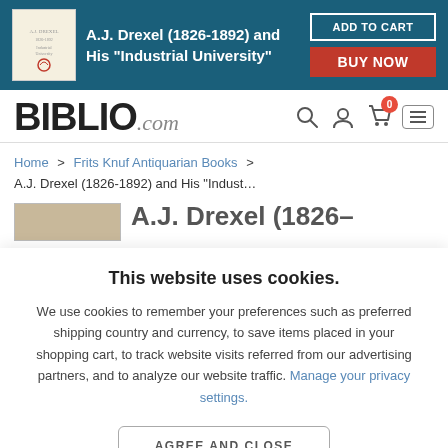A.J. Drexel (1826-1892) and His "Industrial University" — ADD TO CART / BUY NOW banner
[Figure (logo): BIBLIO.com logo with navigation icons (search, user, cart with 0 badge, menu)]
Home > Frits Knuf Antiquarian Books > A.J. Drexel (1826-1892) and His "Indust...
This website uses cookies.
We use cookies to remember your preferences such as preferred shipping country and currency, to save items placed in your shopping cart, to track website visits referred from our advertising partners, and to analyze our website traffic. Manage your privacy settings.
AGREE AND CLOSE